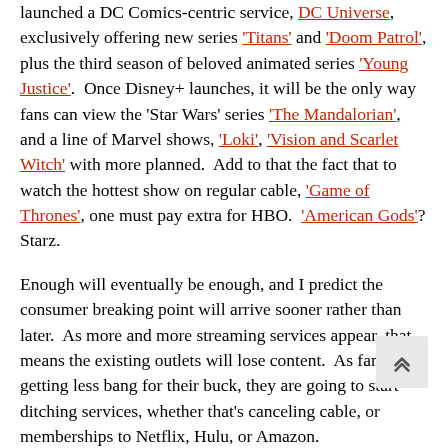launched a DC Comics-centric service, DC Universe, exclusively offering new series 'Titans' and 'Doom Patrol', plus the third season of beloved animated series 'Young Justice'.  Once Disney+ launches, it will be the only way fans can view the 'Star Wars' series 'The Mandalorian', and a line of Marvel shows, 'Loki', 'Vision and Scarlet Witch' with more planned.  Add to that the fact that to watch the hottest show on regular cable, 'Game of Thrones', one must pay extra for HBO.  'American Gods'? Starz.
Enough will eventually be enough, and I predict the consumer breaking point will arrive sooner rather than later.  As more and more streaming services appear, that means the existing outlets will lose content.  As fans start getting less bang for their buck, they are going to start ditching services, whether that's canceling cable, or memberships to Netflix, Hulu, or Amazon.
But keep checking back to see how this race fares.